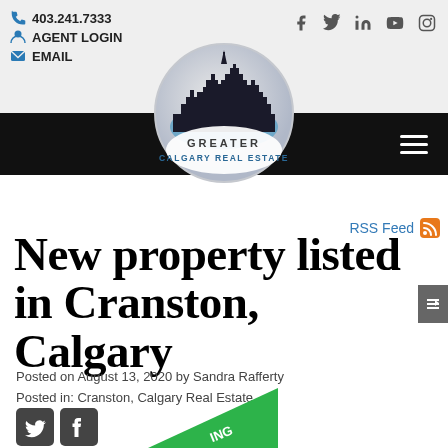403.241.7333 | AGENT LOGIN | EMAIL
[Figure (logo): Greater Calgary Real Estate circular logo with city skyline silhouette]
RSS Feed
New property listed in Cranston, Calgary
Posted on August 13, 2020 by Sandra Rafferty
Posted in: Cranston, Calgary Real Estate
[Figure (illustration): Green diagonal listing badge with text ING visible at bottom of page]